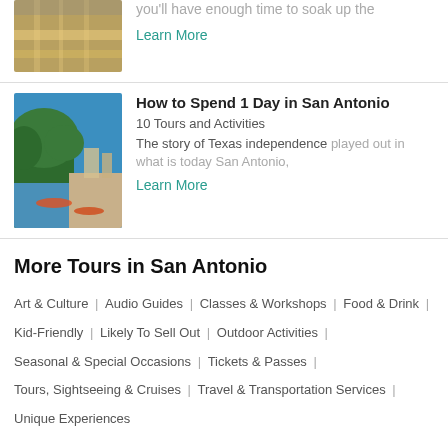[Figure (photo): Aerial/overhead city photo, partially visible at top of page]
you'll have enough time to soak up the
Learn More
[Figure (photo): San Antonio River Walk with trees, boats, and blue sky]
How to Spend 1 Day in San Antonio
10 Tours and Activities
The story of Texas independence played out in what is today San Antonio,
Learn More
More Tours in San Antonio
Art & Culture | Audio Guides | Classes & Workshops | Food & Drink | Kid-Friendly | Likely To Sell Out | Outdoor Activities | Seasonal & Special Occasions | Tickets & Passes | Tours, Sightseeing & Cruises | Travel & Transportation Services | Unique Experiences